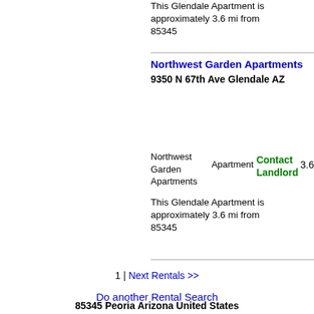This Glendale Apartment is approximately 3.6 mi from 85345
Northwest Garden Apartments 9350 N 67th Ave Glendale AZ
Northwest Garden Apartments  Apartment  Contact Landlord  3.6
This Glendale Apartment is approximately 3.6 mi from 85345
1 | Next Rentals >>
Do another Rental Search
85345 Peoria Arizona United States